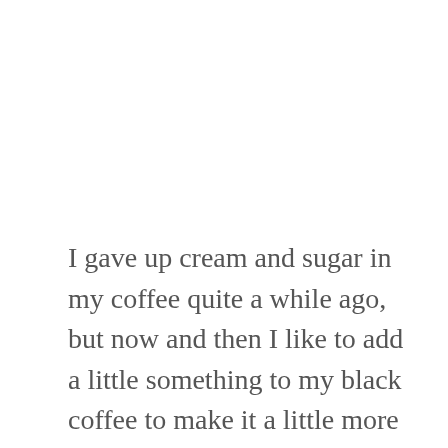I gave up cream and sugar in my coffee quite a while ago, but now and then I like to add a little something to my black coffee to make it a little more substantial. The Laird Superfood Creamers sounded perfect for this so I opened up the Cacao Superfood Creamer and gave it a try in my morning joe! I love the